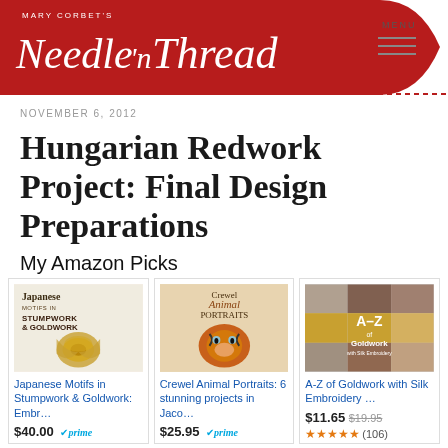Mary Corbet's Needle 'n Thread
NOVEMBER 6, 2012
Hungarian Redwork Project: Final Design Preparations
My Amazon Picks
[Figure (illustration): Book cover: Japanese Motifs in Stumpwork & Goldwork: Embr...]
Japanese Motifs in Stumpwork & Goldwork: Embr...
$40.00 prime
[Figure (illustration): Book cover: Crewel Animal Portraits: 6 stunning projects in Jaco...]
Crewel Animal Portraits: 6 stunning projects in Jaco...
$25.95 prime
[Figure (illustration): Book cover: A-Z of Goldwork with Silk Embroidery ...]
A-Z of Goldwork with Silk Embroidery ...
$11.65 $19.95
★★★★★ (106)